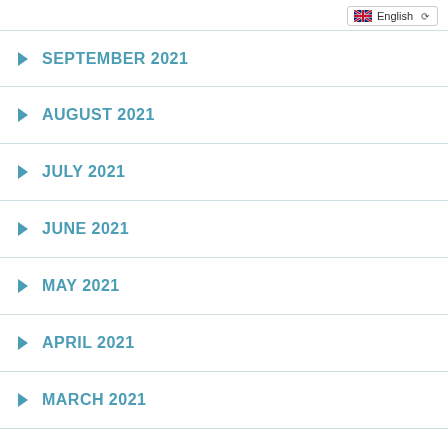[Figure (screenshot): Language selector dropdown showing English with UK flag]
SEPTEMBER 2021
AUGUST 2021
JULY 2021
JUNE 2021
MAY 2021
APRIL 2021
MARCH 2021
FEBRUARY 2021